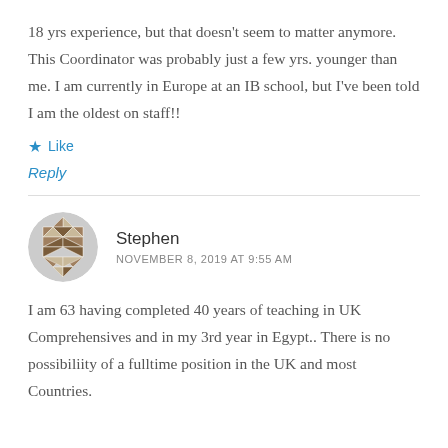18 yrs experience, but that doesn't seem to matter anymore. This Coordinator was probably just a few yrs. younger than me. I am currently in Europe at an IB school, but I've been told I am the oldest on staff!!
Like
Reply
Stephen
NOVEMBER 8, 2019 AT 9:55 AM
I am 63 having completed 40 years of teaching in UK Comprehensives and in my 3rd year in Egypt.. There is no possibiliity of a fulltime position in the UK and most Countries.